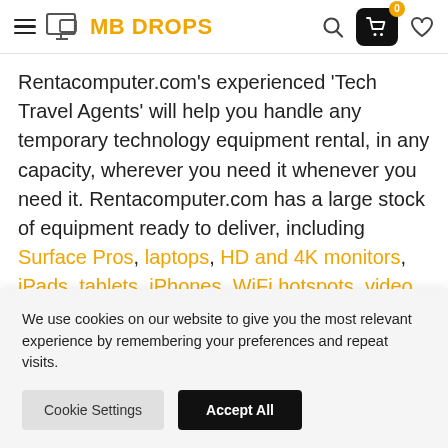MB DROPS — navigation header with hamburger menu, logo, search, cart (0), and heart icon
Rentacomputer.com's experienced 'Tech Travel Agents' will help you handle any temporary technology equipment rental, in any capacity, wherever you need it whenever you need it. Rentacomputer.com has a large stock of equipment ready to deliver, including Surface Pros, laptops, HD and 4K monitors, iPads, tablets, iPhones, WiFi hotspots, video conferencing equipment, and more. Not only will they supply your rental equipment, but
We use cookies on our website to give you the most relevant experience by remembering your preferences and repeat visits.
Cookie Settings   Accept All